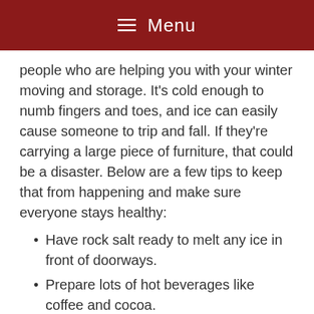≡ Menu
people who are helping you with your winter moving and storage. It's cold enough to numb fingers and toes, and ice can easily cause someone to trip and fall. If they're carrying a large piece of furniture, that could be a disaster. Below are a few tips to keep that from happening and make sure everyone stays healthy:
Have rock salt ready to melt any ice in front of doorways.
Prepare lots of hot beverages like coffee and cocoa.
Have hot food on hand like soup.
Check with everyone frequently to make sure they're OK.